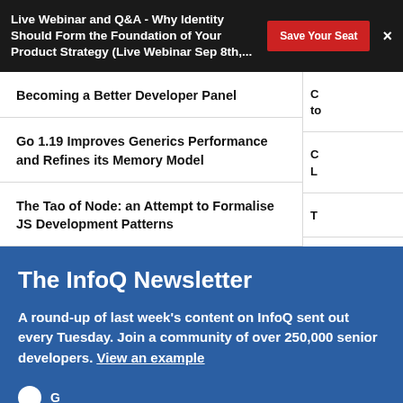Live Webinar and Q&A - Why Identity Should Form the Foundation of Your Product Strategy (Live Webinar Sep 8th,... | Save Your Seat | ×
Becoming a Better Developer Panel
Go 1.19 Improves Generics Performance and Refines its Memory Model
The Tao of Node: an Attempt to Formalise JS Development Patterns
The InfoQ Newsletter
A round-up of last week's content on InfoQ sent out every Tuesday. Join a community of over 250,000 senior developers. View an example